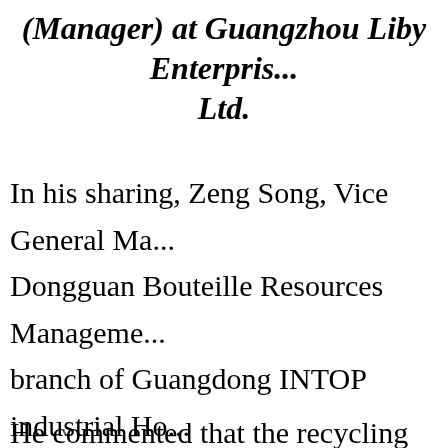(Manager) at Guangzhou Liby Enterprise Ltd.
In his sharing, Zeng Song, Vice General Manager of Dongguan Bouteille Resources Management, a branch of Guangdong INTOP industrial Holdings Ltd, analyzed the current challenge and opportunities the Chinese recycling industry.
He commented that the recycling policies a...